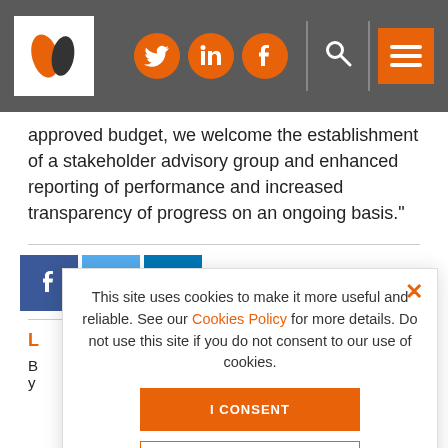Site header with logo, social icons (Twitter, LinkedIn, Facebook), search and menu
approved budget, we welcome the establishment of a stakeholder advisory group and enhanced reporting of performance and increased transparency of progress on an ongoing basis."
[Figure (other): Social share buttons: Facebook (blue), Twitter (light blue), LinkedIn (dark blue)]
This site uses cookies to make it more useful and reliable. See our Cookies Policy for more details. Do not use this site if you do not consent to our use of cookies.
I CONSENT
SEE COOKIE POLICY